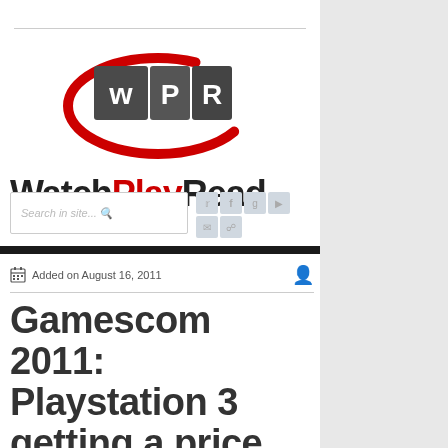[Figure (logo): WatchPlayRead logo with WPR shield graphic and red swoosh, followed by text 'WatchPlayRead' in bold black and red]
Search in site...
Added on August 16, 2011
Gamescom 2011: Playstation 3 getting a price drop